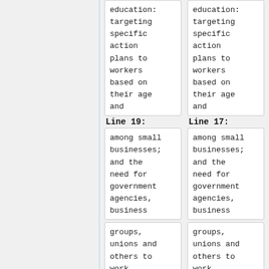education: targeting specific action plans to workers based on their age and
education: targeting specific action plans to workers based on their age and
Line 19:
Line 17:
among small businesses; and the need for government agencies, business
among small businesses; and the need for government agencies, business
groups, unions and others to work
groups, unions and others to work